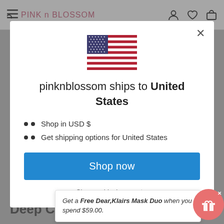PINK n BLOSSOM
[Figure (screenshot): Modal dialog showing US flag, shipping information for United States on pinknblossom e-commerce site]
pinknblossom ships to United States
Shop in USD $
Get shipping options for United States
Shop now
Change shipping country
Get a Free Dear,Klairs Mask Duo when you spend $59.00.
Deep Cleanses The Fine Dust